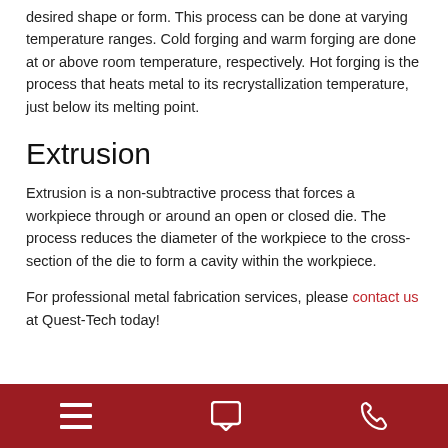desired shape or form. This process can be done at varying temperature ranges. Cold forging and warm forging are done at or above room temperature, respectively. Hot forging is the process that heats metal to its recrystallization temperature, just below its melting point.
Extrusion
Extrusion is a non-subtractive process that forces a workpiece through or around an open or closed die. The process reduces the diameter of the workpiece to the cross-section of the die to form a cavity within the workpiece.
For professional metal fabrication services, please contact us at Quest-Tech today!
[menu icon] [chat icon] [phone icon]